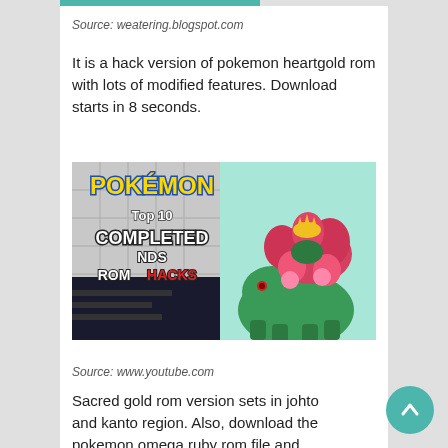Source: weatering.blogspot.com
It is a hack version of pokemon heartgold rom with lots of modified features. Download starts in 8 seconds.
[Figure (illustration): Pokemon Top 10 Completed NDS ROM Hacks thumbnail showing a Venusaur character and Pokemon logo on a game background]
Source: www.youtube.com
Sacred gold rom version sets in johto and kanto region. Also, download the pokemon omega ruby rom file and extract the zip file to run in the emulator.